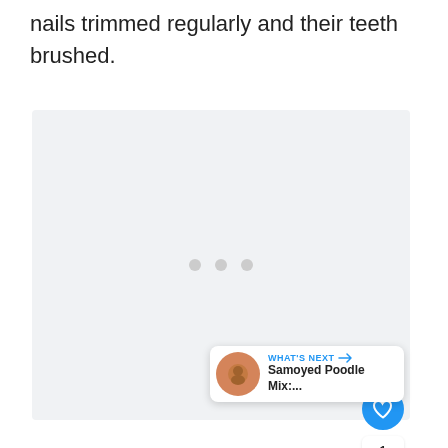nails trimmed regularly and their teeth brushed.
[Figure (photo): Large light gray placeholder image area with three small gray dots centered, indicating loading or empty image content. Overlaid with social media UI elements: a blue heart/like button, a like count of 1, a share button, and a 'What's Next' card showing Samoyed Poodle Mix content.]